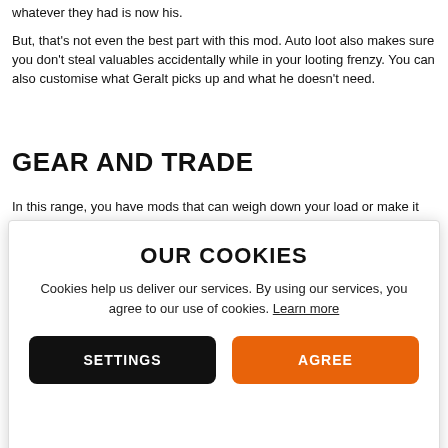whatever they had is now his.
But, that's not even the best part with this mod. Auto loot also makes sure you don't steal valuables accidentally while in your looting frenzy. You can also customise what Geralt picks up and what he doesn't need.
GEAR AND TRADE
In this range, you have mods that can weigh down your load or make it lighter. They can also make your gear look cooler or rebalance the
OVER 9000 WEIGHT
[Figure (other): Cookie consent modal overlay with title 'OUR COOKIES', body text about cookies, and two buttons: SETTINGS (black) and AGREE (orange)]
TRADESMAN